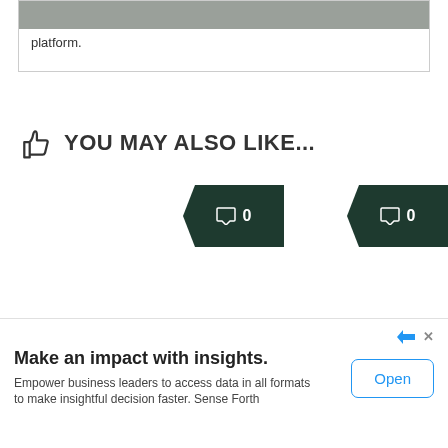platform.
YOU MAY ALSO LIKE...
[Figure (other): Two dark green comment badge buttons each showing a speech bubble icon and '0']
[Figure (other): Chevron/collapse button pointing downward]
Make an impact with insights. Empower business leaders to access data in all formats to make insightful decision faster. Sense Forth
Open